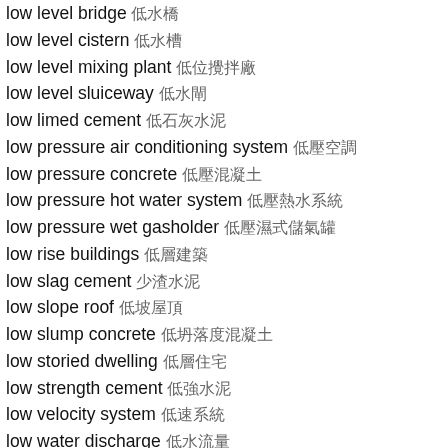low level bridge 低水橋
low level cistern 低水槽
low level mixing plant 低位攪拌廠
low level sluiceway 低水閘
low limed cement 低石灰水泥
low pressure air conditioning system 低壓空調
low pressure concrete 低壓混凝土
low pressure hot water system 低壓熱水系統
low pressure wet gasholder 低壓濕式儲氣罐
low rise buildings 低層建築
low slag cement 少渣水泥
low slope roof 低坡屋頂
low slump concrete 低坍落度混凝土
low storied dwelling 低層住宅
low strength cement 低強水泥
low velocity system 低速系統
low water discharge 低水流量
low water flow 低水流
low water retentive portland cement 低保水性普通水泥
low water stage 低水位